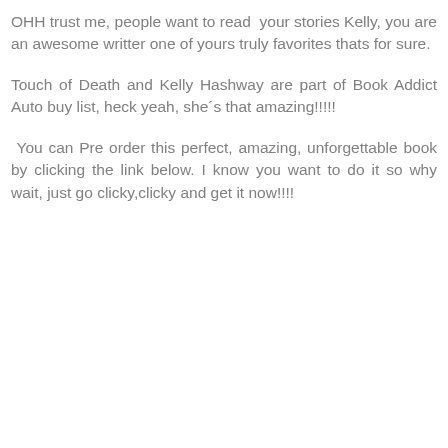OHH trust me, people want to read  your stories Kelly, you are an awesome writter one of yours truly favorites thats for sure.
Touch of Death and Kelly Hashway are part of Book Addict Auto buy list, heck yeah, she´s that amazing!!!!!
You can Pre order this perfect, amazing, unforgettable book by clicking the link below. I know you want to do it so why wait, just go clicky,clicky and get it now!!!!